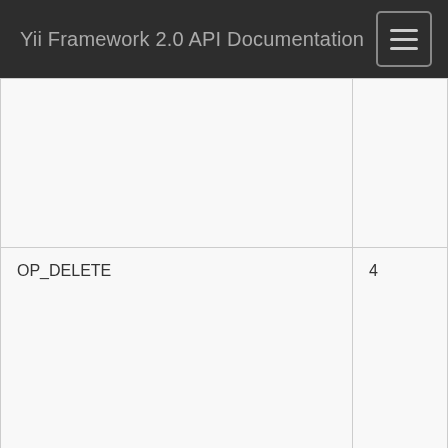Yii Framework 2.0 API Documentation
|  |  |
| OP_DELETE | 4 |
| OP_INSERT | 1 |